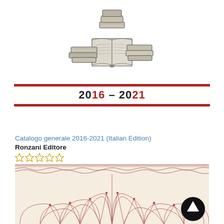[Figure (illustration): Vintage engraving illustration of stacked books and an open book, black and white, publisher logo style]
2016 – 2021
Catalogo generale 2016-2021 (Italian Edition)
Ronzani Editore
[Figure (illustration): Decorative mandala / ornamental pattern on cream/beige background forming book cover design, with a circular dark arrow button overlay in the bottom right]
[Figure (other): Five empty star rating icons (outline only, no fill)]